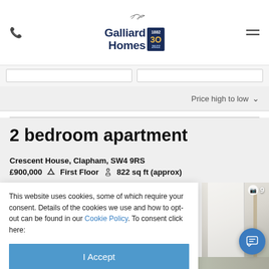Galliard Homes logo with phone icon and menu icon
Price high to low
2 bedroom apartment
Crescent House, Clapham, SW4 9RS
£900,000  First Floor  822 sq ft (approx)
This website uses cookies, some of which require your consent. Details of the cookies we use and how to opt-out can be found in our Cookie Policy. To consent click here:
I Accept
[Figure (photo): Interior photo of apartment hallway/room with white walls and wooden floor, showing camera icon and count of 9 photos]